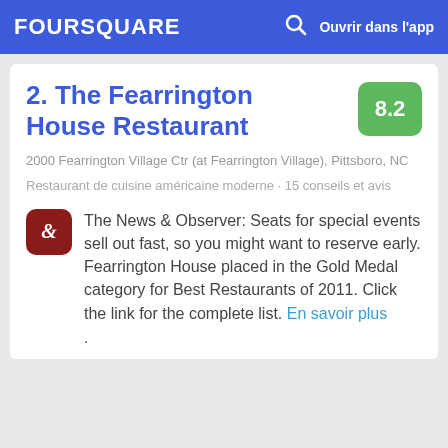FOURSQUARE  Ouvrir dans l'app
2. The Fearrington House Restaurant
2000 Fearrington Village Ctr (at Fearrington Village), Pittsboro, NC
Restaurant de cuisine américaine moderne · 15 conseils et avis
The News & Observer: Seats for special events sell out fast, so you might want to reserve early. Fearrington House placed in the Gold Medal category for Best Restaurants of 2011. Click the link for the complete list. En savoir plus .